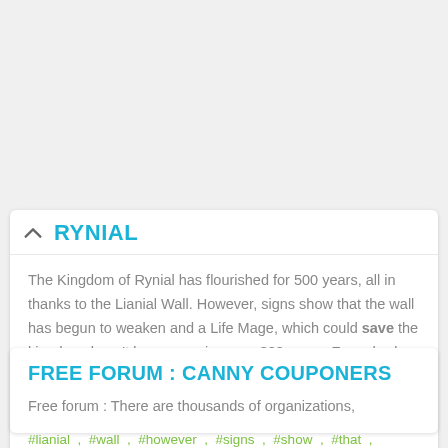RYNIAL
The Kingdom of Rynial has flourished for 500 years, all in thanks to the Lianial Wall. However, signs show that the wall has begun to weaken and a Life Mage, which could save the kingdom, hasn't been seen in some 300 years. Fear slowly stirs and whis
#rynial , #kingdom , #flourished , #years , #thanks , #lianial , #wall , #however , #signs , #show , #that , #begun , #weaken , #life , #mage , #which , #could , #save, #hasn't , #been , #seen
FREE FORUM : CANNY COUPONERS
Free forum : There are thousands of organizations,